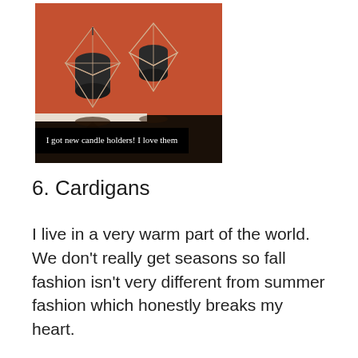[Figure (photo): Photo of two geometric wire candle holders holding dark candles on a reflective black surface with an orange/red wall background. A black text overlay reads: 'I got new candle holders! I love them']
6. Cardigans
I live in a very warm part of the world. We don't really get seasons so fall fashion isn't very different from summer fashion which honestly breaks my heart.